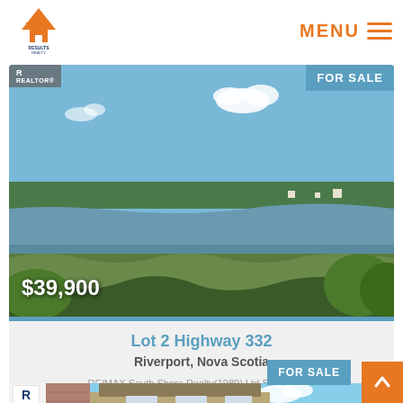[Figure (logo): Results Realty logo with orange house/mountain icon]
MENU
[Figure (photo): Landscape photo of a lake or estuary with green grassy foreground, trees in background, blue sky. FOR SALE badge top right, REALTOR badge top left, price $39,900 bottom left.]
Lot 2 Highway 332
Riverport, Nova Scotia
RE/MAX South Shore Realty(1989) Ltd-Bridgewater
[Figure (photo): Partial photo of a house with brick/siding exterior, blue sky with clouds. FOR SALE badge top right, REALTOR badge top left.]